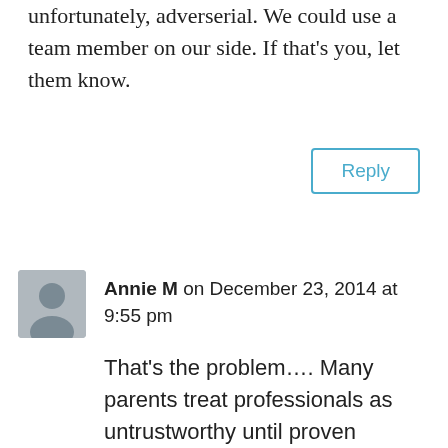unfortunately, adverserial. We could use a team member on our side. If that's you, let them know.
Reply
Annie M on December 23, 2014 at 9:55 pm
That’s the problem…. Many parents treat professionals as untrustworthy until proven otherwise and being human, we take it personally. Imagine being treated as someone who is incompetent or not invested in the success of a child without any evidence. That creates a less than optimal atmosphere for collaboration